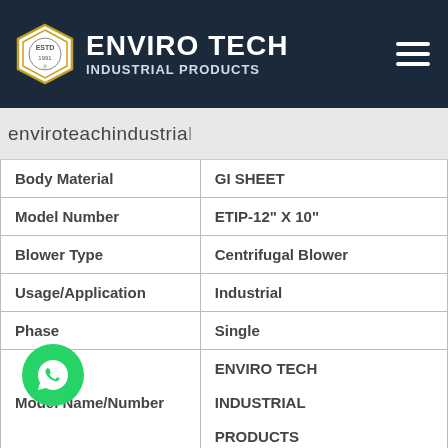ENVIRO TECH INDUSTRIAL PRODUCTS
enviroteachindustrial
| Property | Value |
| --- | --- |
| Body Material | GI SHEET |
| Model Number | ETIP-12" X 10" |
| Blower Type | Centrifugal Blower |
| Usage/Application | Industrial |
| Phase | Single |
| Model Name/Number | ENVIRO TECH INDUSTRIAL PRODUCTS |
| Power Source | Electric Blower |